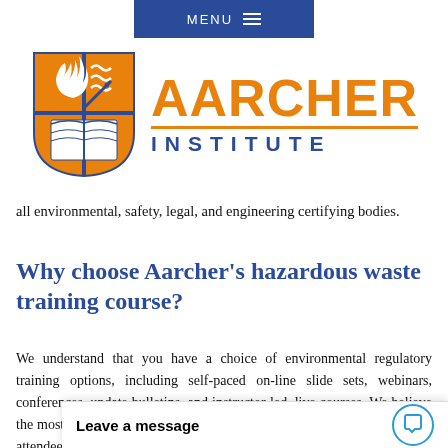MENU
[Figure (logo): Aarcher Institute logo: shield emblem with flame, waves, and open book in orange and blue, beside the text AARCHER INSTITUTE in orange and navy]
all environmental, safety, legal, and engineering certifying bodies.
Why choose Aarcher’s hazardous waste training course?
We understand that you have a choice of environmental regulatory training options, including self-paced on-line slide sets, webinars, conferences, update bulletins, and instructor-led, live courses. We believe the most effective learning experience is created from live courses, where attendees are able to spend a few days focusing on a topic, guided by expert instructors pre… engaging manner, respo…